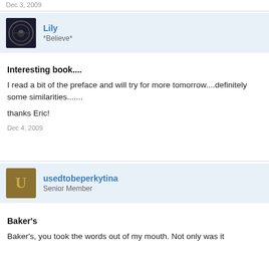Dec 3, 2009
Lily
*Believe*
Interesting book....
I read a bit of the preface and will try for more tomorrow....definitely some similarities.......
thanks Eric!
Dec 4, 2009
usedtobeperkytina
Senior Member
Baker's
Baker's, you took the words out of my mouth. Not only was it